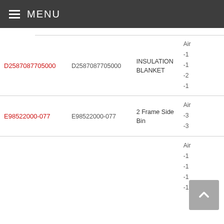MENU
| Part Number (link) | Part Number | Description | Info |
| --- | --- | --- | --- |
| D2587087705000 | D2587087705000 | INSULATION BLANKET | Air
-1
-1
-2
-1 |
| E98522000-077 | E98522000-077 | 2 Frame Side Bin | Air
-3
-3 |
|  |  |  | Air
-1
-1
-1
-1 |